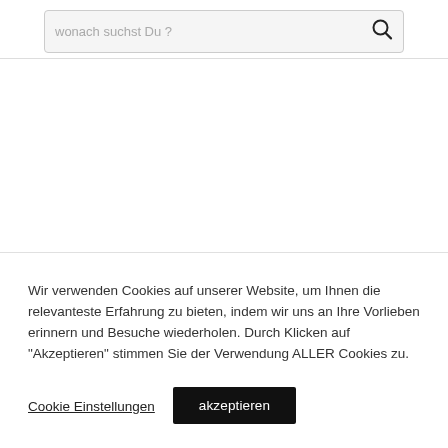wonach suchst Du ?
Wir verwenden Cookies auf unserer Website, um Ihnen die relevanteste Erfahrung zu bieten, indem wir uns an Ihre Vorlieben erinnern und Besuche wiederholen. Durch Klicken auf "Akzeptieren" stimmen Sie der Verwendung ALLER Cookies zu.
Cookie Einstellungen
akzeptieren